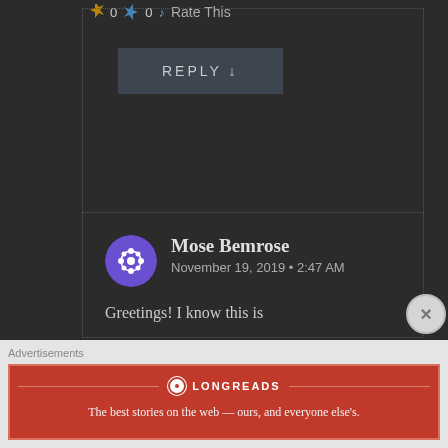0  0  Rate This
REPLY ↓
Mose Bemrose
November 19, 2019 • 2:47 AM
Greetings! I know this is
Advertisements
[Figure (logo): Longreads advertisement banner: circle logo with L, tagline 'The best stories on the web — ours, and everyone else's.' on red background]